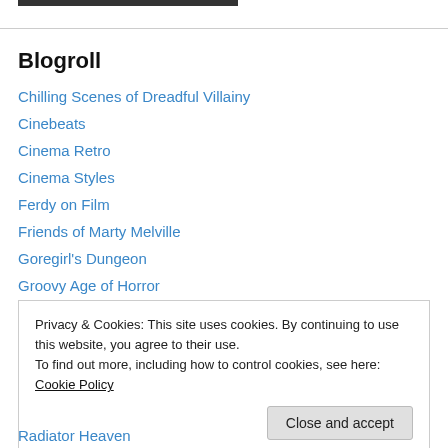Blogroll
Chilling Scenes of Dreadful Villainy
Cinebeats
Cinema Retro
Cinema Styles
Ferdy on Film
Friends of Marty Melville
Goregirl's Dungeon
Groovy Age of Horror
Held Over!
Privacy & Cookies: This site uses cookies. By continuing to use this website, you agree to their use. To find out more, including how to control cookies, see here: Cookie Policy
Close and accept
Radiator Heaven